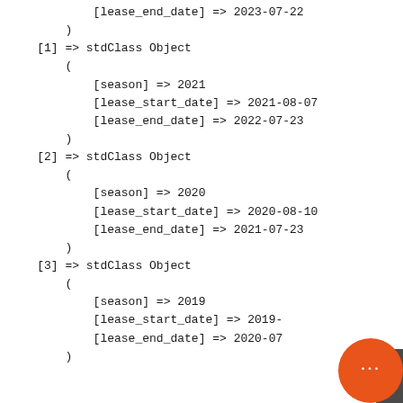[lease_end_date] => 2023-07-22
)
[1] => stdClass Object
(
    [season] => 2021
    [lease_start_date] => 2021-08-07
    [lease_end_date] => 2022-07-23
)
[2] => stdClass Object
(
    [season] => 2020
    [lease_start_date] => 2020-08-10
    [lease_end_date] => 2021-07-23
)
[3] => stdClass Object
(
    [season] => 2019
    [lease_start_date] => 2019-...
    [lease_end_date] => 2020-07-...
)